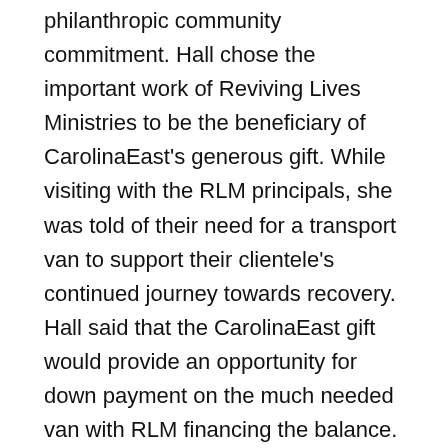philanthropic community commitment. Hall chose the important work of Reviving Lives Ministries to be the beneficiary of CarolinaEast's generous gift. While visiting with the RLM principals, she was told of their need for a transport van to support their clientele's continued journey towards recovery. Hall said that the CarolinaEast gift would provide an opportunity for down payment on the much needed van with RLM financing the balance. Jon and Karen Segal learned of the van need through the CarolinaEast Foundation and generously offered to donate the remaining $2200 needed to allow RLM to purchase the van outright with no finance charges burdening the organization. This